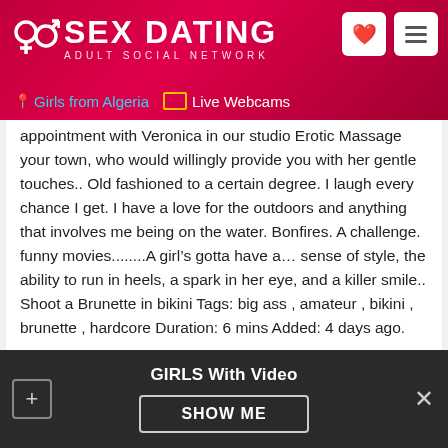SEX DATING ADULT SOCIAL NETWORK | Girls from Algeria | Live Webcams
appointment with Veronica in our studio Erotic Massage your town, who would willingly provide you with her gentle touches.. Old fashioned to a certain degree. I laugh every chance I get. I have a love for the outdoors and anything that involves me being on the water. Bonfires. A challenge. funny movies........A girl’s gotta have a… sense of style, the ability to run in heels, a spark in her eye, and a killer smile.. Shoot a Brunette in bikini Tags: big ass , amateur , bikini , brunette , hardcore Duration: 6 mins Added: 4 days ago.
Hobbies/interests
GIRLS With Video | SHOW ME